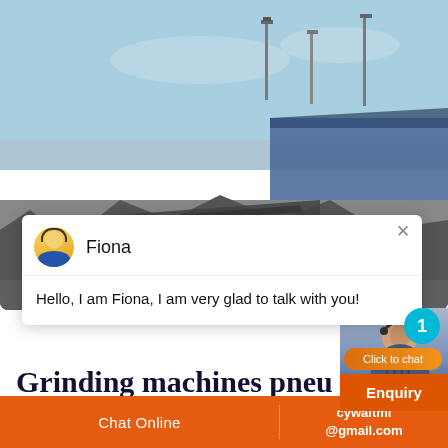[Figure (screenshot): Industrial grinding/crushing facility with conveyor belts, rubble, blue warehouse building, and overhead light poles under a blue sky. A live-chat popup overlay shows an avatar of 'Fiona' with message 'Hello, I am Fiona, I am very glad to talk with you!']
Hello, I am Fiona, I am very glad to talk with you!
Grinding machines pneu Duspra
Chat Online
cywaitml @gmail.com